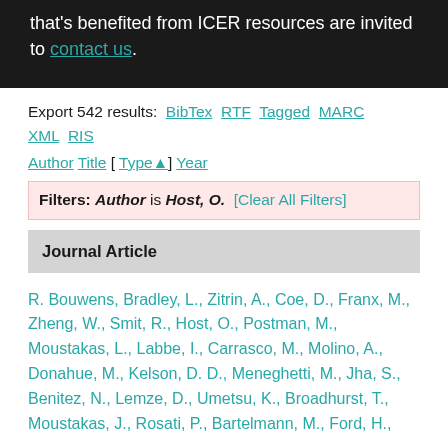that's benefited from ICER resources are invited to contact us.
Export 542 results: BibTex RTF Tagged MARC XML RIS
Author Title [ Type▲] Year
Filters: Author is Host, O. [Clear All Filters]
Journal Article
R. Bouwens, Bradley, L., Zitrin, A., Coe, D., Franx, M., Zheng, W., Smit, R., Host, O., Postman, M., Moustakas, L., Labbe, I., Carrasco, M., Molino, A., Donahue, M., Kelson, D. D., Meneghetti, M., Jha, S., Benitez, N., Lemze, D., Umetsu, K., Broadhurst, T., Moustakas, J., Rosati, P., Bartelmann, M., Ford, H.,